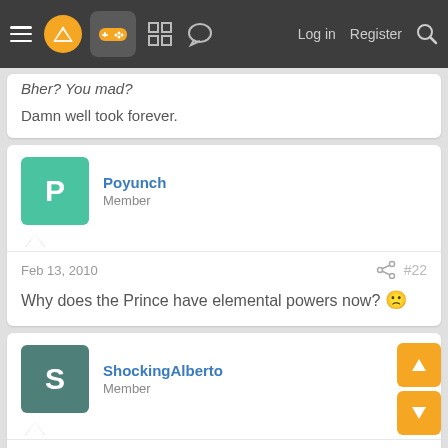Navigation bar with logo, gamepad icon, menu icons, Log in, Register, Search
Bher? You mad?

Damn well took forever.
Poyunch
Member
Feb 13, 2010  #22
Why does the Prince have elemental powers now? 😕
ShockingAlberto
Member
Feb 13, 2010  #23